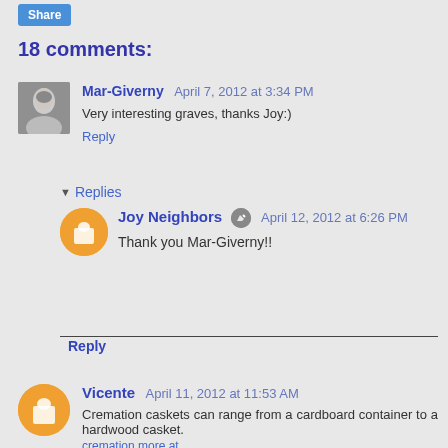Share
18 comments:
Mar-Giverny April 7, 2012 at 3:34 PM
Very interesting graves, thanks Joy:)
Reply
Replies
Joy Neighbors April 12, 2012 at 6:26 PM
Thank you Mar-Giverny!!
Reply
Vicente April 11, 2012 at 11:53 AM
Cremation caskets can range from a cardboard container to a hardwood casket.
cremation more at...